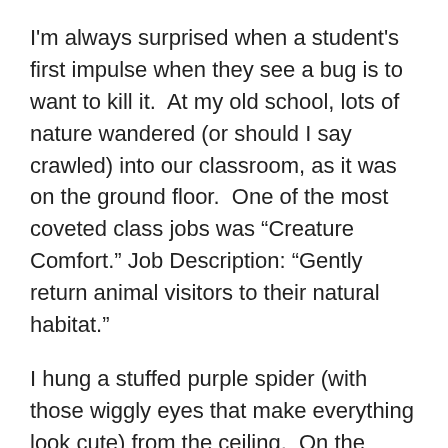I'm always surprised when a student's first impulse when they see a bug is to want to kill it.  At my old school, lots of nature wandered (or should I say crawled) into our classroom, as it was on the ground floor.  One of the most coveted class jobs was “Creature Comfort.” Job Description: “Gently return animal visitors to their natural habitat.”
I hung a stuffed purple spider (with those wiggly eyes that make everything look cute) from the ceiling.  On the counter beneath it were the Tools of the Trade – a clear plastic cup and an index card.  I demonstrated how to put the cup over the insect and then slide the card beneath it.
By mid-year, I’d hear a student shriek then shout, “Creature Comfort!”   I didn’t let any of the girls, some who thought bugs were oh so yucky, off the hook either.  We’d